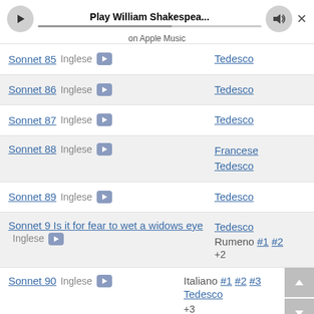[Figure (screenshot): Apple Music player bar with play button, progress bar showing 'Play William Shakespea...' title, volume button, and close button, with 'on Apple Music' subtitle]
Sonnet 85  Inglese ▶  |  Tedesco
Sonnet 86  Inglese ▶  |  Tedesco
Sonnet 87  Inglese ▶  |  Tedesco
Sonnet 88  Inglese ▶  |  Francese  Tedesco
Sonnet 89  Inglese ▶  |  Tedesco
Sonnet 9 Is it for fear to wet a widows eye  Inglese ▶  |  Tedesco  Rumeno #1 #2  +2
Sonnet 90  Inglese ▶  |  Italiano #1 #2 #3  Tedesco  +3